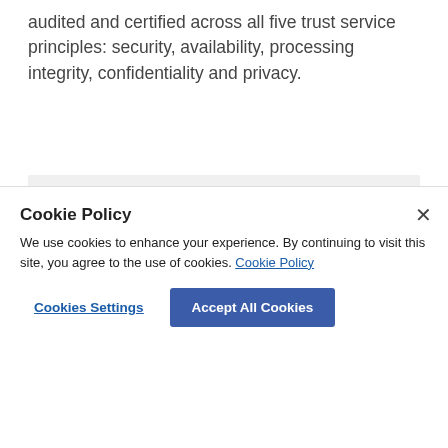audited and certified across all five trust service principles: security, availability, processing integrity, confidentiality and privacy.
Talk to an Expert
Cookie Policy
We use cookies to enhance your experience. By continuing to visit this site, you agree to the use of cookies. Cookie Policy
Cookies Settings
Accept All Cookies